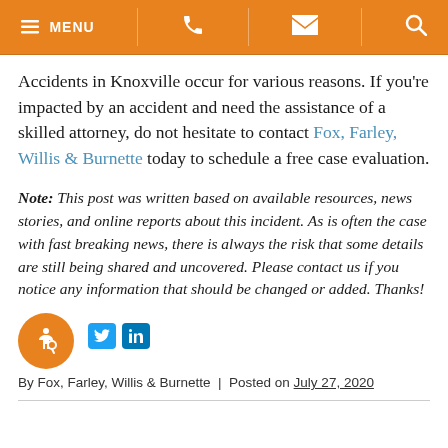MENU [phone] [email] [search]
Accidents in Knoxville occur for various reasons. If you're impacted by an accident and need the assistance of a skilled attorney, do not hesitate to contact Fox, Farley, Willis & Burnette today to schedule a free case evaluation.
Note: This post was written based on available resources, news stories, and online reports about this incident. As is often the case with fast breaking news, there is always the risk that some details are still being shared and uncovered. Please contact us if you notice any information that should be changed or added. Thanks!
By Fox, Farley, Willis & Burnette | Posted on July 27, 2020